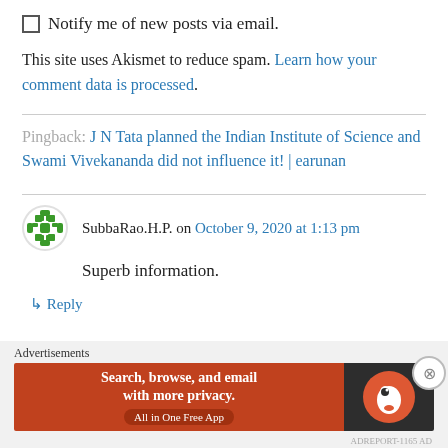Notify me of new posts via email.
This site uses Akismet to reduce spam. Learn how your comment data is processed.
Pingback: J N Tata planned the Indian Institute of Science and Swami Vivekananda did not influence it! | earunan
SubbaRao.H.P. on October 9, 2020 at 1:13 pm
Superb information.
↳ Reply
[Figure (screenshot): DuckDuckGo advertisement banner: 'Search, browse, and email with more privacy. All in One Free App' with DuckDuckGo logo on dark background.]